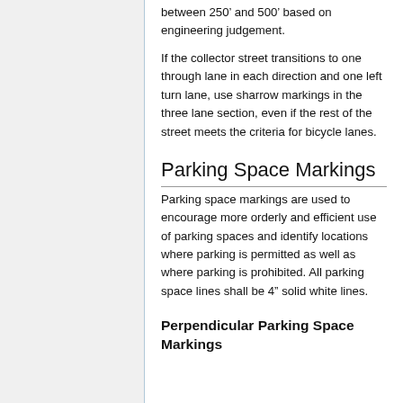between 250' and 500' based on engineering judgement.
If the collector street transitions to one through lane in each direction and one left turn lane, use sharrow markings in the three lane section, even if the rest of the street meets the criteria for bicycle lanes.
Parking Space Markings
Parking space markings are used to encourage more orderly and efficient use of parking spaces and identify locations where parking is permitted as well as where parking is prohibited. All parking space lines shall be 4” solid white lines.
Perpendicular Parking Space Markings